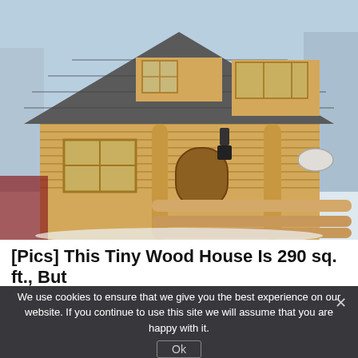[Figure (photo): Exterior photo of a small log cabin / tiny wood house with a steep shingled roof, wooden log walls, a covered porch with log railings, and a loft-style dormer window. Snow is visible on the ground. The cabin is light natural wood color.]
[Pics] This Tiny Wood House Is 290 sq. ft., But [text cut off]
We use cookies to ensure that we give you the best experience on our website. If you continue to use this site we will assume that you are happy with it.